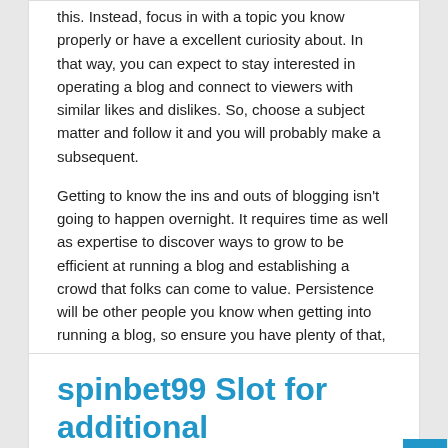this. Instead, focus in with a topic you know properly or have a excellent curiosity about. In that way, you can expect to stay interested in operating a blog and connect to viewers with similar likes and dislikes. So, choose a subject matter and follow it and you will probably make a subsequent.
Getting to know the ins and outs of blogging isn't going to happen overnight. It requires time as well as expertise to discover ways to grow to be efficient at running a blog and establishing a crowd that folks can come to value. Persistence will be other people you know when getting into running a blog, so ensure you have plenty of that, as well as, persistence and before you know it, you'll be well known all over the net.
slotking99
spinbet99 Slot for additional
Tak Berkategori   No Comments
DewaSlot88 like this If you'd love to start a blog site making